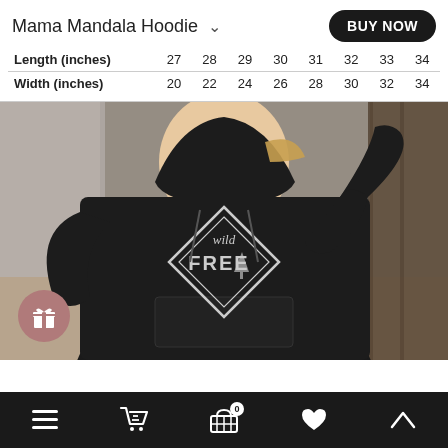Mama Mandala Hoodie
|  | S | M | L | XL | 2XL | 3XL | 4XL | 5XL |
| --- | --- | --- | --- | --- | --- | --- | --- | --- |
| Length (inches) | 27 | 28 | 29 | 30 | 31 | 32 | 33 | 34 |
| Width (inches) | 20 | 22 | 24 | 26 | 28 | 30 | 32 | 34 |
[Figure (photo): Woman wearing a black hoodie with a diamond-shaped 'wild FREE' graphic print, photographed outdoors with trees in the background.]